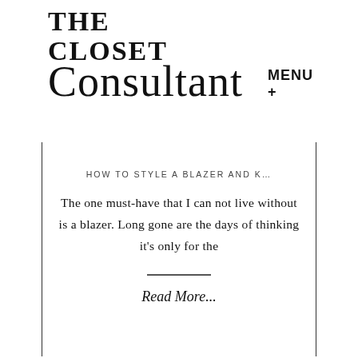THE CLOSET Consultant
MENU +
HOW TO STYLE A BLAZER AND K…
The one must-have that I can not live without is a blazer. Long gone are the days of thinking it's only for the
Read More...